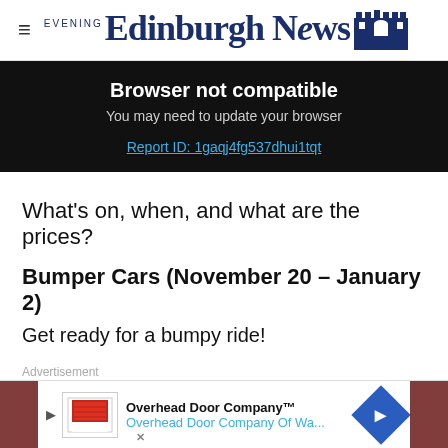Edinburgh Evening News
Browser not compatible
You may need to update your browser
Report ID: 1gaqj4fg537dhui1tqt
What's on, when, and what are the prices?
Bumper Cars (November 20 - January 2)
Get ready for a bumpy ride!
Advertisement
[Figure (screenshot): Ad banner for Overhead Door Company with logo, text 'Overhead Door Company™ Overhead Door Company Of Wa...' and blue diamond arrow icon]